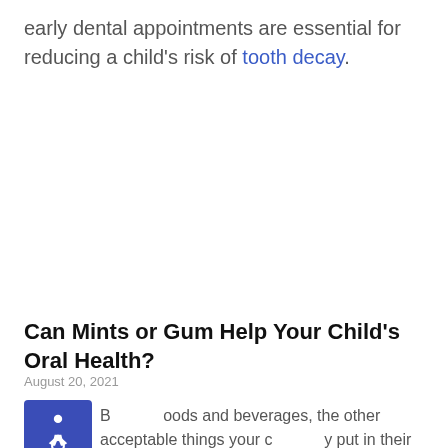early dental appointments are essential for reducing a child's risk of tooth decay.
Can Mints or Gum Help Your Child's Oral Health?
August 20, 2021
Beyond foods and beverages, the other acceptable things your child may put in their mouth are mints or gum. Many restaurants